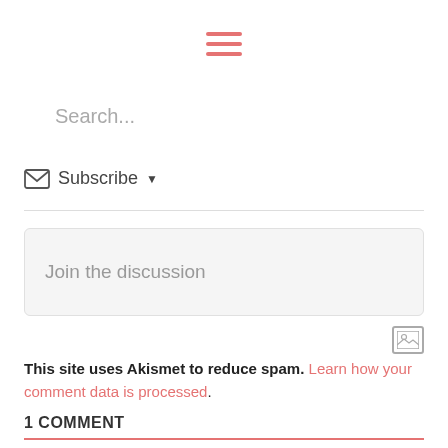[Figure (other): Hamburger menu icon — three horizontal pink/red lines]
Search...
Subscribe ▼
Join the discussion
[Figure (other): Image/photo icon — small square with mountain landscape symbol]
This site uses Akismet to reduce spam. Learn how your comment data is processed.
1 COMMENT
[Figure (other): Lightning bolt icon (yellow/orange) and flame icon (red/orange)]